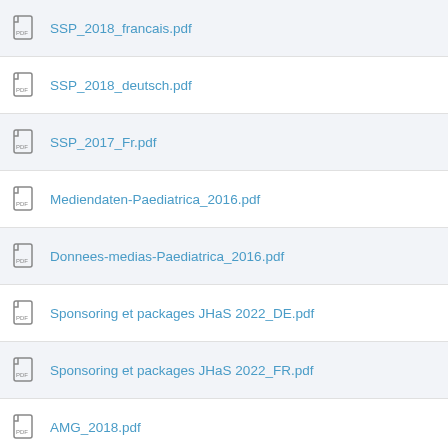SSP_2018_francais.pdf
SSP_2018_deutsch.pdf
SSP_2017_Fr.pdf
Mediendaten-Paediatrica_2016.pdf
Donnees-medias-Paediatrica_2016.pdf
Sponsoring et packages JHaS 2022_DE.pdf
Sponsoring et packages JHaS 2022_FR.pdf
AMG_2018.pdf
ZnB20_Dosiskarte_FR_1021.pdf
SSP_2022.pdf
Donnes-medias-RMS-2016.pdf
Mediendaten-RMS_2016.pdf